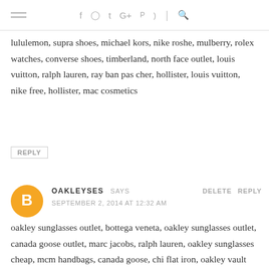Navigation header with hamburger menu and social icons: facebook, instagram, twitter, google+, pinterest, rss, search
lululemon, supra shoes, michael kors, nike roshe, mulberry, rolex watches, converse shoes, timberland, north face outlet, louis vuitton, ralph lauren, ray ban pas cher, hollister, louis vuitton, nike free, hollister, mac cosmetics
REPLY
OAKLEYSES SAYS
SEPTEMBER 2, 2014 AT 12:32 AM
DELETE REPLY
oakley sunglasses outlet, bottega veneta, oakley sunglasses outlet, canada goose outlet, marc jacobs, ralph lauren, oakley sunglasses cheap, mcm handbags, canada goose, chi flat iron, oakley vault